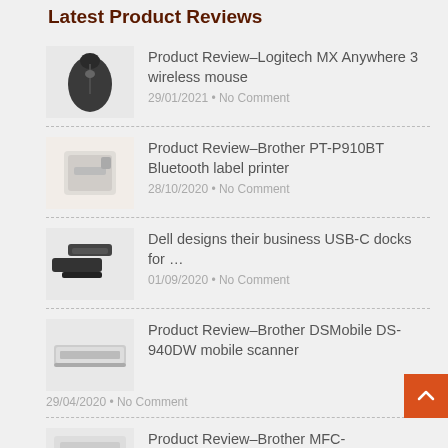Latest Product Reviews
Product Review–Logitech MX Anywhere 3 wireless mouse
29/01/2021 • No Comment
Product Review–Brother PT-P910BT Bluetooth label printer
28/10/2020 • No Comment
Dell designs their business USB-C docks for …
01/09/2020 • No Comment
Product Review–Brother DSMobile DS-940DW mobile scanner
29/04/2020 • No Comment
Product Review–Brother MFC-